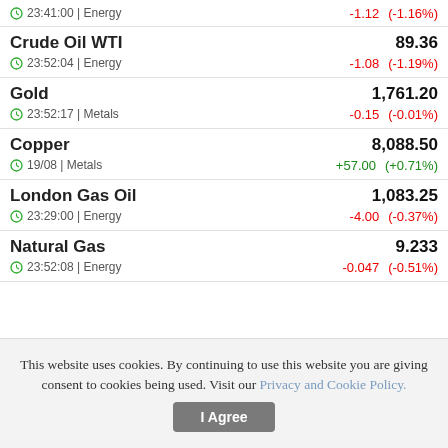| Commodity | Price | Change | Change% |
| --- | --- | --- | --- |
| Crude Oil WTI | 89.36 | -1.08 | (-1.19%) |
| Gold | 1,761.20 | -0.15 | (-0.01%) |
| Copper | 8,088.50 | +57.00 | (+0.71%) |
| London Gas Oil | 1,083.25 | -4.00 | (-0.37%) |
| Natural Gas | 9.233 | -0.047 | (-0.51%) |
This website uses cookies. By continuing to use this website you are giving consent to cookies being used. Visit our Privacy and Cookie Policy.